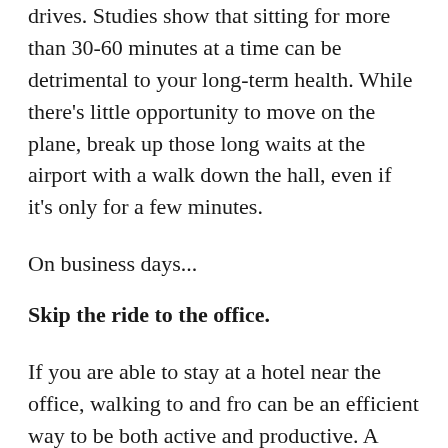drives. Studies show that sitting for more than 30-60 minutes at a time can be detrimental to your long-term health. While there's little opportunity to move on the plane, break up those long waits at the airport with a walk down the hall, even if it's only for a few minutes.
On business days...
Skip the ride to the office.
If you are able to stay at a hotel near the office, walking to and fro can be an efficient way to be both active and productive. A morning walk can help energize your mind for better focus at work, and a walk afterwards can help